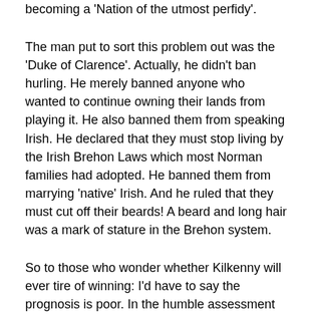becoming a 'Nation of the utmost perfidy'.
The man put to sort this problem out was the 'Duke of Clarence'. Actually, he didn't ban hurling. He merely banned anyone who wanted to continue owning their lands from playing it. He also banned them from speaking Irish. He declared that they must stop living by the Irish Brehon Laws which most Norman families had adopted. He banned them from marrying 'native' Irish. And he ruled that they must cut off their beards! A beard and long hair was a mark of stature in the Brehon system.
So to those who wonder whether Kilkenny will ever tire of winning: I'd have to say the prognosis is poor. In the humble assessment of this blow-in only ten years in Kilkenny (after about four generations some here may regard you as a local), there is a geasa or spell